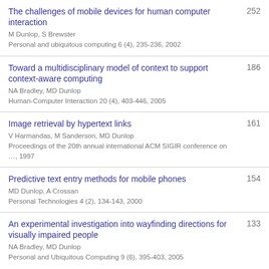The challenges of mobile devices for human computer interaction
M Dunlop, S Brewster
Personal and ubiquitous computing 6 (4), 235-236, 2002
252
Toward a multidisciplinary model of context to support context-aware computing
NA Bradley, MD Dunlop
Human-Computer Interaction 20 (4), 403-446, 2005
186
Image retrieval by hypertext links
V Harmandas, M Sanderson, MD Dunlop
Proceedings of the 20th annual international ACM SIGIR conference on …, 1997
161
Predictive text entry methods for mobile phones
MD Dunlop, A Crossan
Personal Technologies 4 (2), 134-143, 2000
154
An experimental investigation into wayfinding directions for visually impaired people
NA Bradley, MD Dunlop
Personal and Ubiquitous Computing 9 (6), 395-403, 2005
133